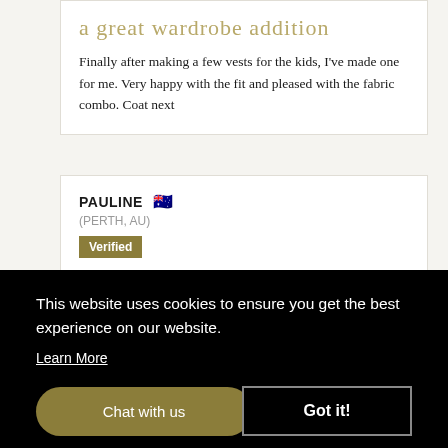a great wardrobe addition
Finally after making a few vests for the kids, I've made one for me. Very happy with the fit and pleased with the fabric combo. Coat next
PAULINE 🇦🇺 (PERTH, AU)
Verified
1 year ago
★★★★★
This website uses cookies to ensure you get the best experience on our website.
Learn More
Chat with us
Got it!